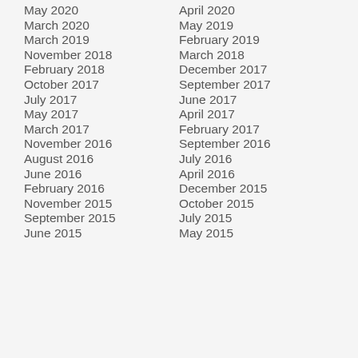May 2020
April 2020
March 2020
May 2019
March 2019
February 2019
November 2018
March 2018
February 2018
December 2017
October 2017
September 2017
July 2017
June 2017
May 2017
April 2017
March 2017
February 2017
November 2016
September 2016
August 2016
July 2016
June 2016
April 2016
February 2016
December 2015
November 2015
October 2015
September 2015
July 2015
June 2015
May 2015